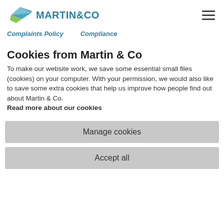MARTIN&CO
Complaints Policy   Compliance
Cookies from Martin & Co
To make our website work, we save some essential small files (cookies) on your computer. With your permission, we would also like to save some extra cookies that help us improve how people find out about Martin & Co.
Read more about our cookies
Manage cookies
Accept all